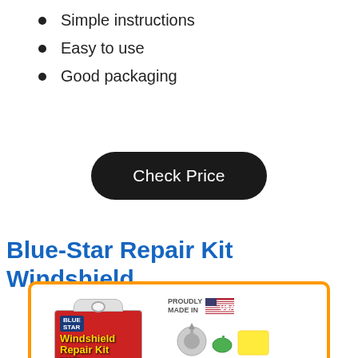Simple instructions
Easy to use
Good packaging
Check Price
Blue-Star Repair Kit Windshield
[Figure (photo): Blue-Star Windshield Repair Kit product photo showing the red product box packaging and repair tools including syringes, with 'Proudly Made in USA' text]